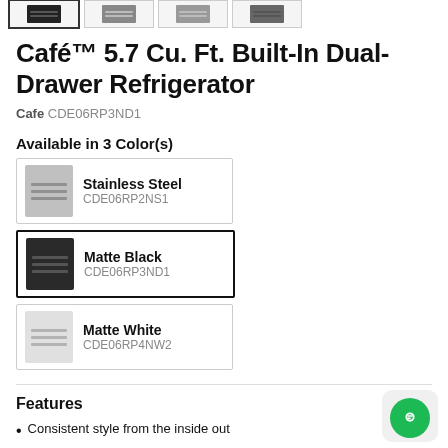[Figure (photo): Four thumbnail images of refrigerator models in a row at the top]
Café™ 5.7 Cu. Ft. Built-In Dual-Drawer Refrigerator
Cafe CDE06RP3ND1
Available in 3 Color(s)
Stainless Steel CDE06RP2NS1
Matte Black CDE06RP3ND1
Matte White CDE06RP4NW2
Features
Consistent style from the inside out
Slide shut without making a sound
Storage options that fit your needs
Clearly see all your favorite foods